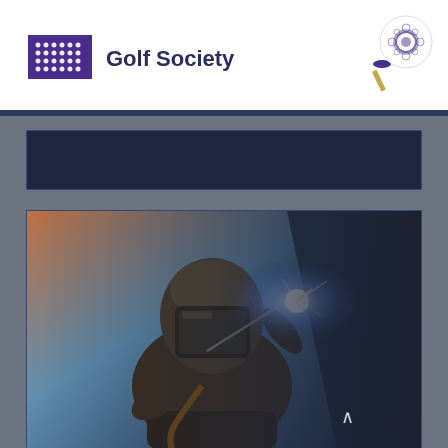[Figure (logo): Chartered Institute of Logistics and Transport logo — purple rectangle with dot pattern]
Golf Society
[Figure (illustration): Golf ball on a tee with purple/gold coloring]
[Figure (photo): A welder wearing a welding mask and protective gear, welding with bright sparks/arc light visible, dark moody industrial background]